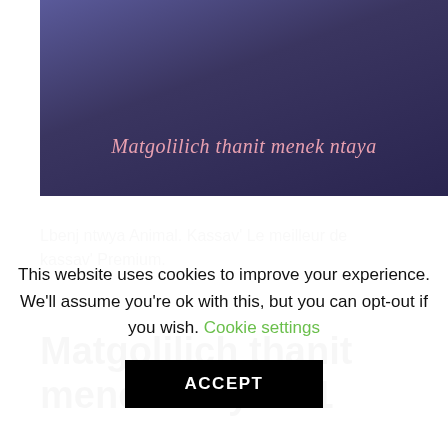[Figure (photo): Person wearing a blue turtleneck/hoodie against a dark background, with italic pink text overlay reading 'Matgolilich thanit menek ntaya']
Lbenj ntwya Animal. Kassav' Le meilleur de kassav' Premium.
Matgolilich thanit menek ntaya – 1
This website uses cookies to improve your experience. We'll assume you're ok with this, but you can opt-out if you wish. Cookie settings ACCEPT